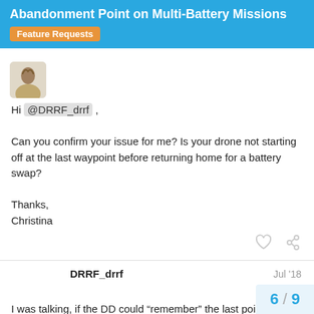Abandonment Point on Multi-Battery Missions
Feature Requests
Hi @DRRF_drrf ,

Can you confirm your issue for me? Is your drone not starting off at the last waypoint before returning home for a battery swap?

Thanks,
Christina
DRRF_drrf   Jul '18

I was talking, if the DD could “remember” the last point in the midle of the row, before i swap battery.
6 / 9